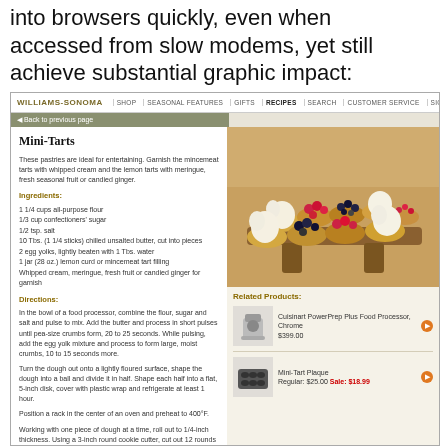into browsers quickly, even when accessed from slow modems, yet still achieve substantial graphic impact:
[Figure (screenshot): Screenshot of Williams-Sonoma website showing a Mini-Tarts recipe page with navigation bar, recipe text on left, photo of mini-tarts on right, and related products section including Cuisinart PowerPrep Plus Food Processor Chrome $399.00 and Mini-Tart Plaque Regular $25.00 Sale $18.99]